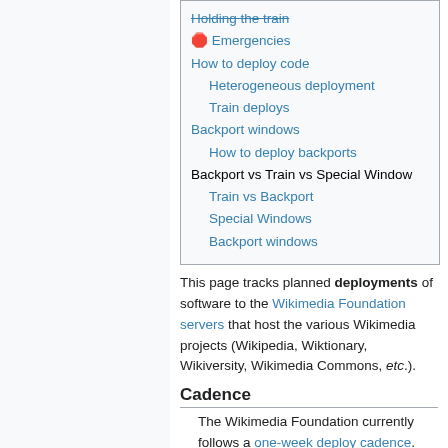Holding the train (strikethrough)
🛑 Emergencies
How to deploy code
Heterogeneous deployment
Train deploys
Backport windows
How to deploy backports
Backport vs Train vs Special Window
Train vs Backport
Special Windows
Backport windows
This page tracks planned deployments of software to the Wikimedia Foundation servers that host the various Wikimedia projects (Wikipedia, Wiktionary, Wikiversity, Wikimedia Commons, etc.).
Cadence
The Wikimedia Foundation currently follows a one-week deploy cadence. This means that there is one week between updates to any one...